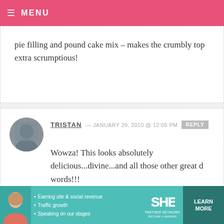MENU
pie filling and pound cake mix – makes the crumbly top extra scrumptious!
TRISTAN — JANUARY 29, 2010 @ 12:05 PM REPLY
Wowza! This looks absolutely delicious...divine...and all those other great d words!!!
JEN — JANUARY 29, 2010 @ 12:05 PM REPLY
[Figure (infographic): SHE Partner Network advertisement banner with bullet points: Earning site & social revenue, Traffic growth, Speaking on our stages. Features a woman's photo, SHE logo, and a Learn More button.]